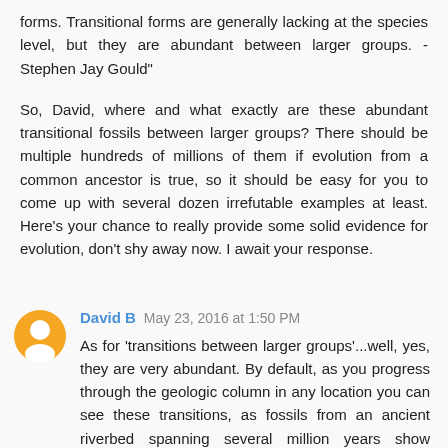forms. Transitional forms are generally lacking at the species level, but they are abundant between larger groups. - Stephen Jay Gould"
So, David, where and what exactly are these abundant transitional fossils between larger groups? There should be multiple hundreds of millions of them if evolution from a common ancestor is true, so it should be easy for you to come up with several dozen irrefutable examples at least. Here's your chance to really provide some solid evidence for evolution, don't shy away now. I await your response.
David B  May 23, 2016 at 1:50 PM
As for 'transitions between larger groups'...well, yes, they are very abundant. By default, as you progress through the geologic column in any location you can see these transitions, as fossils from an ancient riverbed spanning several million years show changes in various developments